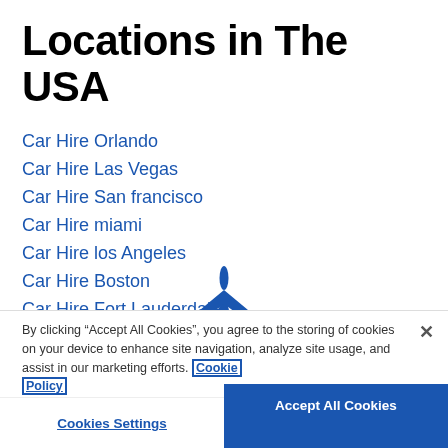Locations in The USA
Car Hire Orlando
Car Hire Las Vegas
Car Hire San francisco
Car Hire miami
Car Hire los Angeles
Car Hire Boston
Car Hire Fort Lauderdale
Car Hire Denver
[Figure (logo): Blue airplane/travel logo icon]
By clicking “Accept All Cookies”, you agree to the storing of cookies on your device to enhance site navigation, analyze site usage, and assist in our marketing efforts. Cookie Policy
Cookies Settings
Accept All Cookies